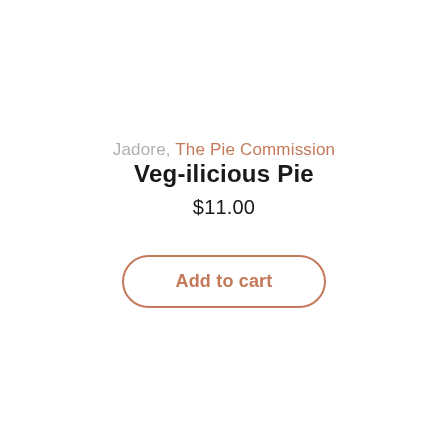Jadore, The Pie Commission
Veg-ilicious Pie
$11.00
Add to cart